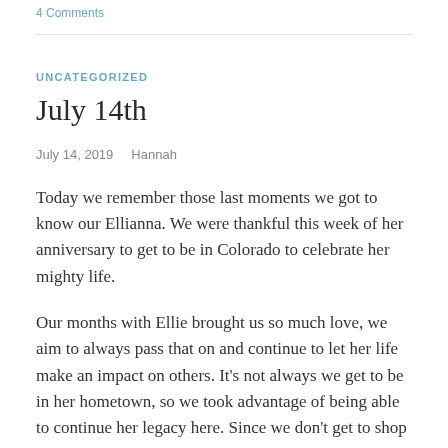4 Comments
UNCATEGORIZED
July 14th
July 14, 2019   Hannah
Today we remember those last moments we got to know our Ellianna. We were thankful this week of her anniversary to get to be in Colorado to celebrate her mighty life.
Our months with Ellie brought us so much love, we aim to always pass that on and continue to let her life make an impact on others. It’s not always we get to be in her hometown, so we took advantage of being able to continue her legacy here. Since we don’t get to shop for our little peanut we went shopping for another little girl who needed